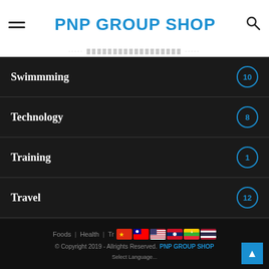PNP GROUP SHOP
Swimmming 10
Technology 8
Training 1
Travel 12
บทความ 6
บริการของเรา 1
ไม่มีหมวดหมู่ 1
Foods | Health | Tr... © Copyright 2019 - Allrights Reserved. PNP GROUP SHOP